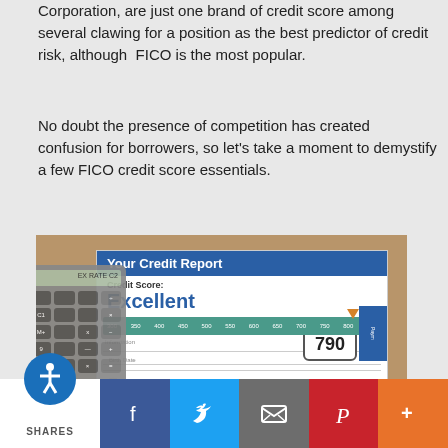Corporation, are just one brand of credit score among several clawing for a position as the best predictor of credit risk, although FICO is the most popular.
No doubt the presence of competition has created confusion for borrowers, so let's take a moment to demystify a few FICO credit score essentials.
[Figure (photo): Photo of a credit report document showing 'Your Credit Report', Credit Score: Excellent, score of 790, with a scale from 300-850, overlaid with a calculator and glasses on a wooden surface.]
SHARES [social share buttons: Facebook, Twitter, Email, Pinterest, More]